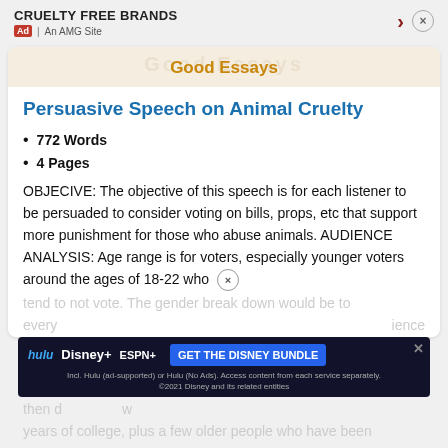CRUELTY FREE BRANDS | Ad | An AMG Site
Good Essays
Persuasive Speech on Animal Cruelty
772 Words
4 Pages
OBJECIVE: The objective of this speech is for each listener to be persuaded to consider voting on bills, props, etc that support more punishment for those who abuse animals. AUDIENCE ANALYSIS: Age range is for voters, especially younger voters around the ages of 18-22 who tend to not vote. The gender break down would be to every... experience then... years of college, plus a few older people who have been
[Figure (screenshot): Disney Bundle advertisement banner showing Hulu, Disney+, ESPN+ logos with 'GET THE DISNEY BUNDLE' call to action button]